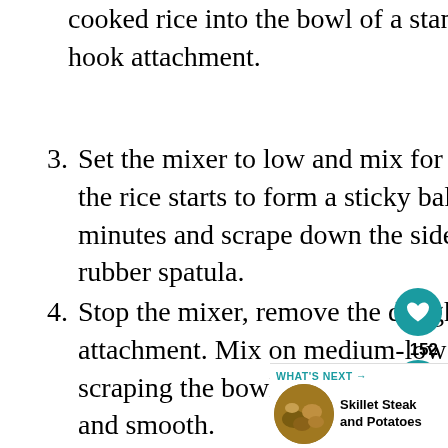cooked rice into the bowl of a stand mixer fitted with the dough hook attachment.
3. Set the mixer to low and mix for about 10-12 minutes or until the rice starts to form a sticky ball. Stop the mixer every few minutes and scrape down the sides of the bowl with a wet, rubber spatula.
4. Stop the mixer, remove the dough hook, and put on paddle attachment. Mix on medium-low speed for 1-2 minutes, scraping the bowl every 30 seconds, or until the dough is sticky and smooth.
5. Remove the mochi from the mixing bowl and place into a zip top bag. The mochi is very sticky. Using a wet rubber spatula works well. Do not zip the bag yet, lay the bag on a flat surface and use a rolling pin to flatten out the mochi.